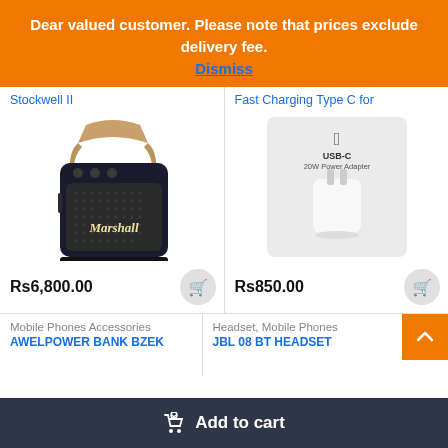Dear valued customer. Please note that prices exclude delivery fee.
Dismiss
Stockwell II
[Figure (photo): Marshall Stockwell II portable Bluetooth speaker in dark navy/black with leather carry strap and gold logo]
Rs6,800.00
Fast Charging Type C for
[Figure (photo): Apple USB-C 20W Power Adapter charger in white box packaging on gray background]
Rs850.00
Mobile Phones Accessories
AWELPOWER BANK BZEK
Headset, Mobile Phones
JBL 08 BT HEADSET
Add to cart